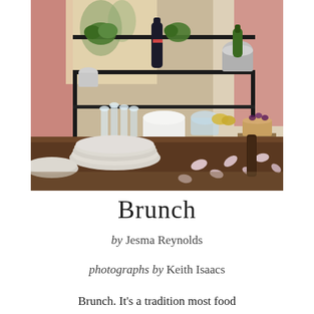[Figure (photo): A brunch table setting photographed in an elegant dining room. The foreground shows stacked plates and scattered flower petals on a dark wood table. The background features a black shelving unit or sideboard loaded with crystal glassware, bottles, a silver champagne bucket with a bottle, a white soup tureen, crystal decanters, a fruit arrangement, and a tart or cake on a raised stand. Pink curtains and a decorative painting are visible in the background.]
Brunch
by Jesma Reynolds
photographs by Keith Isaacs
Brunch. It's a tradition most food